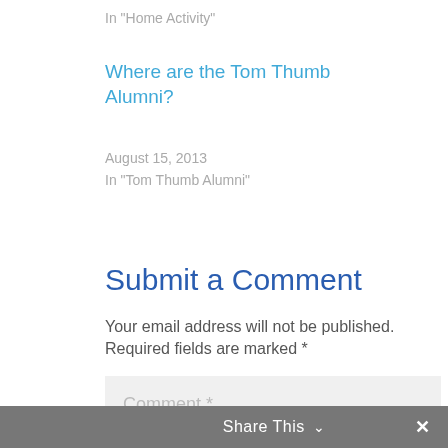In "Home Activity"
Where are the Tom Thumb Alumni?
August 15, 2013
In "Tom Thumb Alumni"
Submit a Comment
Your email address will not be published. Required fields are marked *
Comment *
Share This ∨  ✕